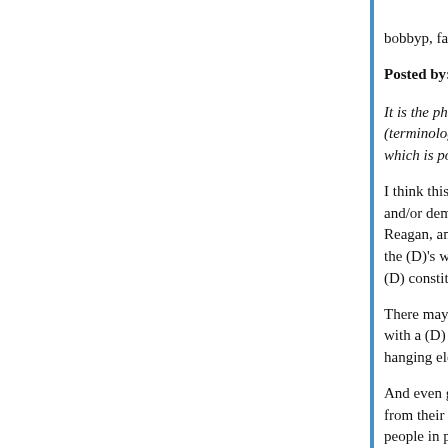bobbyp, fair enough.
Posted by: Girl from the North Country | May 02, 2021 at 12...
It is the phenomenon of disproportionate attention... (terminology for racial groups, terminology for pro... which is possibly (or probably) alienating large sw...
I think this is true - my sense is that there are a lo... and/or demographics that have been historically (... Reagan, and Bush, and Trump, who did so at lea... the (D)'s were all about "identity politics" and had... (D) constituency of working people.
There may even be some justification for that, alt... with a (D) focus on race, and more on a (D) strate... hanging electoral fruit in larger urban areas.
And even given all of that, I would personally not... from their current focus on issues of race and the... people in public life.
To put a point on this, and with specific reference... Bill Clinton made some headway by stepping bac...